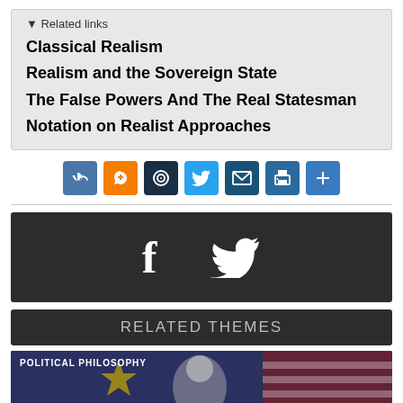▾ Related links
Classical Realism
Realism and the Sovereign State
The False Powers And The Real Statesman
Notation on Realist Approaches
[Figure (infographic): Social share buttons: VK (blue), Blogger (orange), Digg (dark), Twitter (blue), Email (dark blue), Print (blue), Share (+) (blue)]
[Figure (infographic): Dark footer banner with large white Facebook 'f' icon and white Twitter bird icon]
RELATED THEMES
[Figure (photo): Photo section labeled 'POLITICAL PHILOSOPHY' showing a person near EU and US flags]